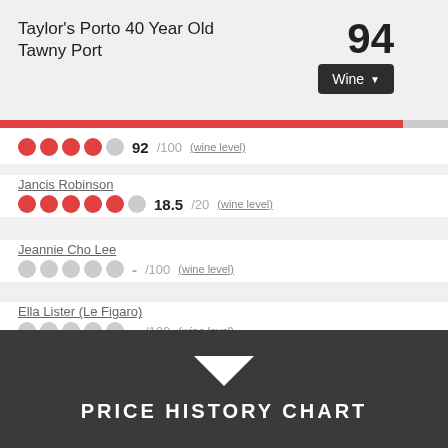Taylor's Porto 40 Year Old Tawny Port
94
Wine
92 /100 (wine level)
Jancis Robinson
18.5 /20 (wine level)
Jeannie Cho Lee
- /100 (wine level)
Ella Lister (Le Figaro)
- /100 (wine level)
AGEING POTENTIAL
Wine life
8+ years (wine level)
PRICE HISTORY CHART